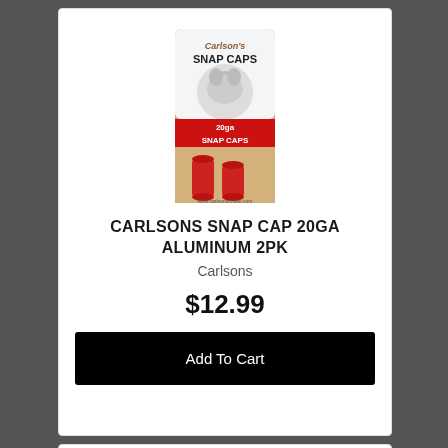[Figure (photo): Carlson's Snap Caps 20ga product package showing two red snap caps with a dog/cow image on the packaging]
CARLSONS SNAP CAP 20GA ALUMINUM 2PK
Carlsons
$12.99
Add To Cart
[Figure (photo): Red snap cap ammunition dummy rounds shown at the bottom of the page, partially visible]